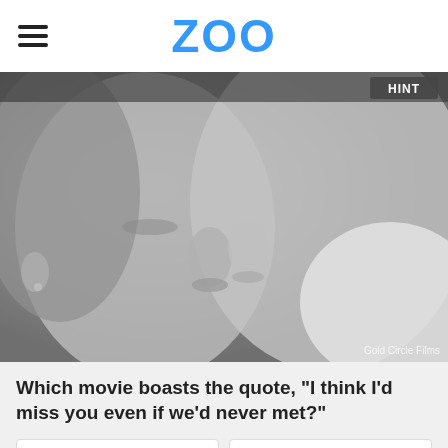ZOO
[Figure (photo): Grayscale photo of a couple close together about to kiss, romantic scene. Credit: Gold Circle Films. A 'HINT' button is visible in the upper right corner.]
Which movie boasts the quote, "I think I'd miss you even if we'd never met?"
"Easy A"
"What Happens in Vegas"